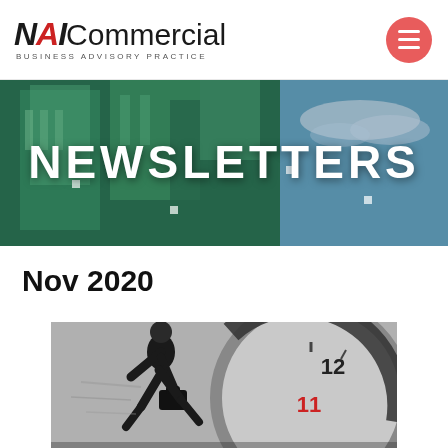NAI Commercial — Business Advisory Practice
NEWSLETTERS
Nov 2020
[Figure (photo): Silhouette of a businessperson running with a briefcase beside a large close-up of a clock face showing the 11 and 12 position, blurred motion effect, black and white tones.]